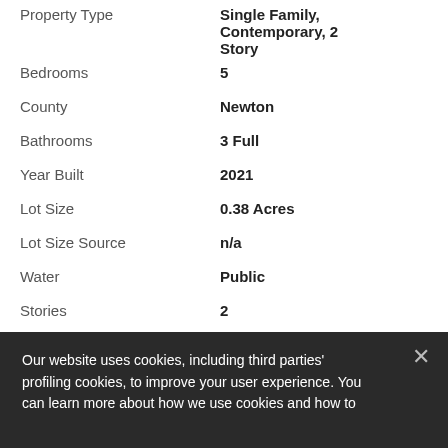| Property Attribute | Value |
| --- | --- |
| Property Type | Single Family, Contemporary, 2 Story |
| Bedrooms | 5 |
| County | Newton |
| Bathrooms | 3 Full |
| Year Built | 2021 |
| Lot Size | 0.38 Acres |
| Lot Size Source | n/a |
| Water | Public |
| Stories | 2 |
| Construction | Brick,Wood |
| Sewer | Public Sewer |
| Garage | Yes - 2 spaces |
| Subdivision | Inglewood Park Phase II |
| Buyer's Commission | % 2 |
Our website uses cookies, including third parties' profiling cookies, to improve your user experience. You can learn more about how we use cookies and how to